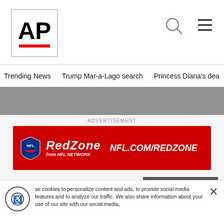[Figure (logo): AP logo with red underline bar in a white box]
Trending News    Trump Mar-a-Lago search    Princess Diana's dea
[Figure (photo): Partial photo strip at top of article]
ADVERTISEMENT
[Figure (other): NFL RedZone advertisement banner — red background with NFL shield logo, RedZone from NFL Network text, and NFL.COM/REDZONE]
NABLUS, West Bank (AP) — Four Palestinian high school friends are heading to California to pitch their mobile app about fire prevention to Silicon Valley's tech leaders, after winning
[Figure (screenshot): Video overlay showing a news story thumbnail with play/pause controls and caption 'Feds cite efforts to']
se cookies to personalize content and ads, to provide social media features and to analyze our traffic. We also share information about your use of our site with our social media,